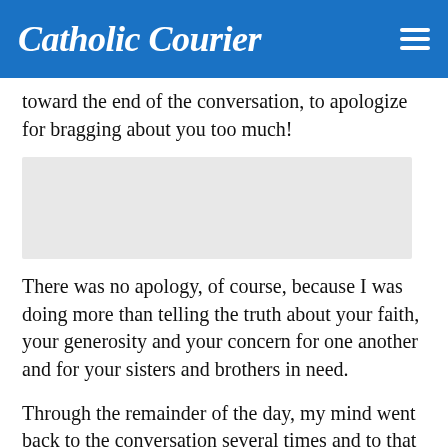Catholic Courier
toward the end of the conversation, to apologize for bragging about you too much!
[Figure (other): Grey placeholder rectangle, likely an advertisement or image block]
There was no apology, of course, because I was doing more than telling the truth about your faith, your generosity and your concern for one another and for your sisters and brothers in need.
Through the remainder of the day, my mind went back to the conversation several times and to that awareness of those virtues that you manifest. Such virtues are gifts of the Holy Spirit which not only draw us close to the Lord, but which strengthen all of us for our common mission to announce the saving love of Christ. We do this, certainly, with words. But sometimes we speak to others more strongly and clearly than what words alone have come to them...